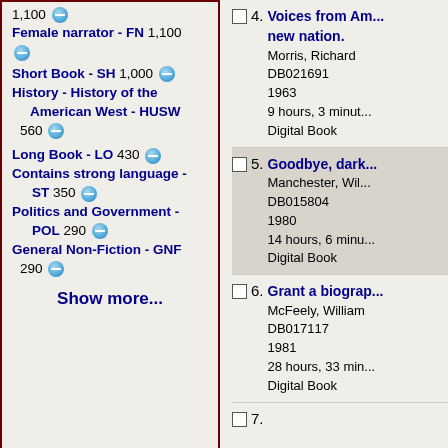1,100 [minus] Female narrator - FN 1,100 [minus]
Short Book - SH 1,000 [minus] History - History of the American West - HUSW 560 [minus]
Long Book - LO 430 [minus] Contains strong language - ST 350 [minus] Politics and Government - POL 290 [minus] General Non-Fiction - GNF 290 [minus]
Show more...
4. Voices from Am... new nation. Morris, Richard DB021691 1963 9 hours, 3 minut... Digital Book
5. Goodbye, dark... Manchester, Wil... DB015804 1980 14 hours, 6 minu... Digital Book
6. Grant a biograp... McFeely, William DB017117 1981 28 hours, 33 min... Digital Book